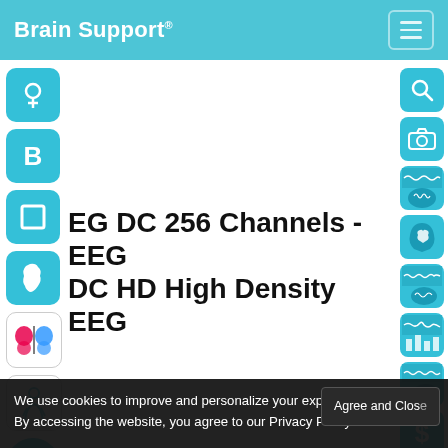Brain Support®
[Figure (screenshot): Website screenshot of BrainSupport.com showing navigation icons on left and right sidebars with EEG product listings]
EG DC 256 Channels - EEG DC HD High Density EEG
We use cookies to improve and personalize your experience. By accessing the website, you agree to our Privacy Policy.
Agree and Close